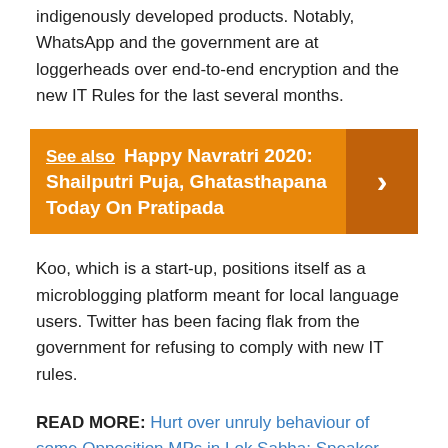indigenously developed products. Notably, WhatsApp and the government are at loggerheads over end-to-end encryption and the new IT Rules for the last several months.
[Figure (other): Orange banner with 'See also Happy Navratri 2020: Shailputri Puja, Ghatasthapana Today On Pratipada' and a right-arrow chevron on a darker orange background.]
Koo, which is a start-up, positions itself as a microblogging platform meant for local language users. Twitter has been facing flak from the government for refusing to comply with new IT rules.
READ MORE: Hurt over unruly behaviour of some Opposition MPs in Lok Sabha: Speaker
READ MORE: 3rd COVID vaccine dose strongly boosts protection against Delta variant: Pfizer